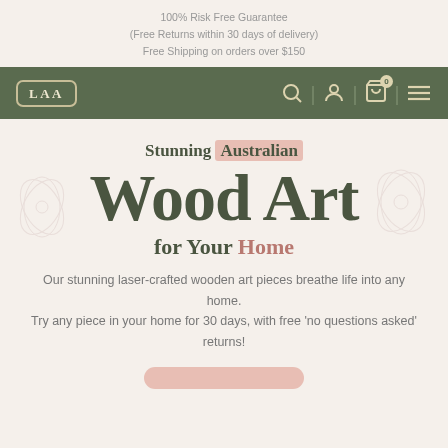100% Risk Free Guarantee
(Free Returns within 30 days of delivery)
Free Shipping on orders over $150
[Figure (logo): Navigation bar with LAA logo in a rounded rectangle border, search icon, account icon, cart icon with 0 badge, and hamburger menu icon on olive/dark green background]
Stunning Australian Wood Art for Your Home
Our stunning laser-crafted wooden art pieces breathe life into any home.
Try any piece in your home for 30 days, with free 'no questions asked' returns!
[Figure (other): Partial pink rounded button at bottom of page]